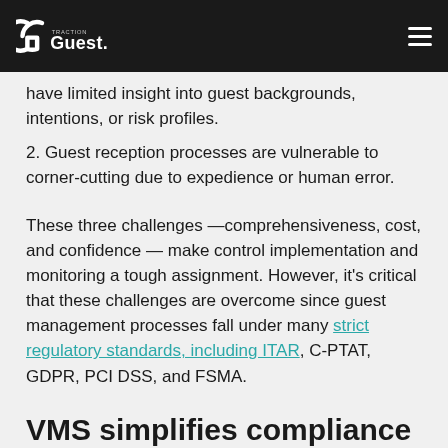Traction Guest (logo and navigation)
have limited insight into guest backgrounds, intentions, or risk profiles.
2. Guest reception processes are vulnerable to corner-cutting due to expedience or human error.
These three challenges —comprehensiveness, cost, and confidence — make control implementation and monitoring a tough assignment. However, it's critical that these challenges are overcome since guest management processes fall under many strict regulatory standards, including ITAR, C-PTAT, GDPR, PCI DSS, and FSMA.
VMS simplifies compliance requirements related to guests